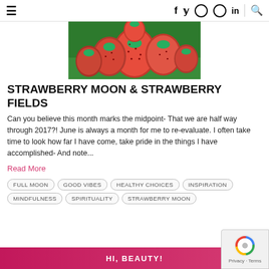≡   f  y  ⊙  ⊕  in   🔍
[Figure (photo): Close-up photo of fresh red strawberries piled up on green grass background]
STRAWBERRY MOON & STRAWBERRY FIELDS
Can you believe this month marks the midpoint- That we are half way through 2017?! June is always a month for me to re-evaluate. I often take time to look how far I have come, take pride in the things I have accomplished- And note...
Read More
FULL MOON
GOOD VIBES
HEALTHY CHOICES
INSPIRATION
MINDFULNESS
SPIRITUALITY
STRAWBERRY MOON
HI, BEAUTY!